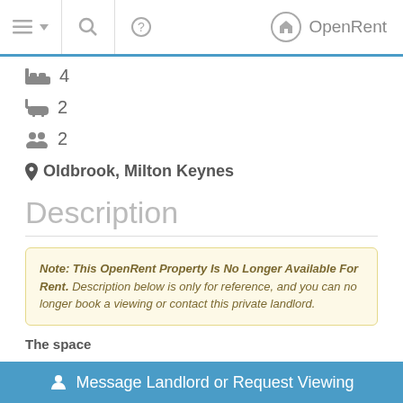OpenRent
4 bedrooms
2 bathrooms
2 tenants
Oldbrook, Milton Keynes
Description
Note: This OpenRent Property Is No Longer Available For Rent. Description below is only for reference, and you can no longer book a viewing or contact this private landlord.
The space
Message Landlord or Request Viewing